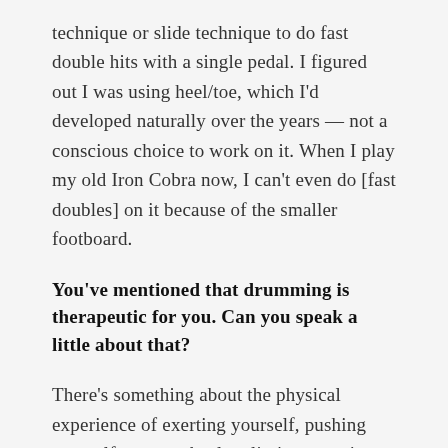technique or slide technique to do fast double hits with a single pedal. I figured out I was using heel/toe, which I'd developed naturally over the years — not a conscious choice to work on it. When I play my old Iron Cobra now, I can't even do [fast doubles] on it because of the smaller footboard.
You've mentioned that drumming is therapeutic for you. Can you speak a little about that?
There's something about the physical experience of exerting yourself, pushing yourself to your absolute limits, sweating your ass off, trying to overcome this challenge you've made for yourself. At the end of it, you feel relieved. Your mood is lighter. The world seems like a better place than it was when you started playing.